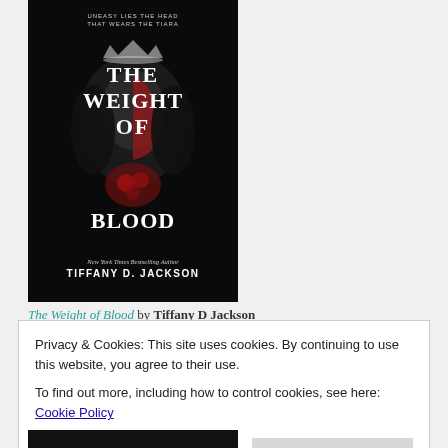[Figure (photo): Book cover for 'The Weight of Blood' by Tiffany D. Jackson. Dark background with a figure wearing a tiara and holding red roses. Title in large white text. Tagline reads 'UNEASY LIES THE HEAD THAT WEARS THE TIARA'. Author name at bottom: New York Times Bestselling Author TIFFANY D. JACKSON.]
The Weight of Blood by Tiffany D Jackson
Privacy & Cookies: This site uses cookies. By continuing to use this website, you agree to their use.
To find out more, including how to control cookies, see here: Cookie Policy
Close and accept